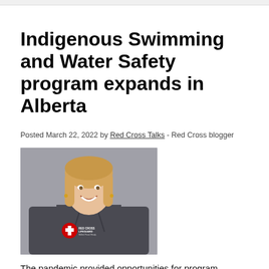Indigenous Swimming and Water Safety program expands in Alberta
Posted March 22, 2022 by Red Cross Talks - Red Cross blogger
[Figure (photo): A smiling young woman with long blonde hair wearing a dark grey Red Cross Lifeguard hoodie, photographed indoors.]
The pandemic provided opportunities for program instructors to innovate and expand delivery of water safety and injury prevention courses in Indigenous communities, says Kailee Berezowski, a program coordinator for the Canadian Red Cross Indigenous Swimming and Water